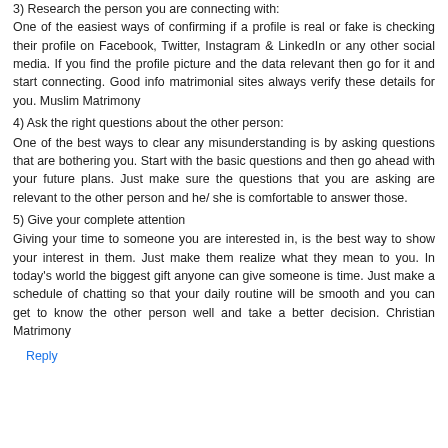3) Research the person you are connecting with:
One of the easiest ways of confirming if a profile is real or fake is checking their profile on Facebook, Twitter, Instagram & LinkedIn or any other social media. If you find the profile picture and the data relevant then go for it and start connecting. Good info matrimonial sites always verify these details for you. Muslim Matrimony
4) Ask the right questions about the other person:
One of the best ways to clear any misunderstanding is by asking questions that are bothering you. Start with the basic questions and then go ahead with your future plans. Just make sure the questions that you are asking are relevant to the other person and he/ she is comfortable to answer those.
5) Give your complete attention
Giving your time to someone you are interested in, is the best way to show your interest in them. Just make them realize what they mean to you. In today's world the biggest gift anyone can give someone is time. Just make a schedule of chatting so that your daily routine will be smooth and you can get to know the other person well and take a better decision. Christian Matrimony
Reply